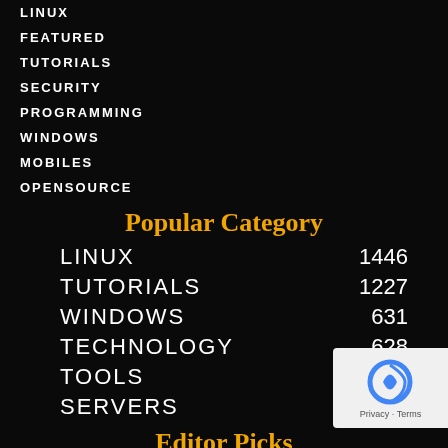LINUX
FEATURED
TUTORIALS
SECURITY
PROGRAMMING
WINDOWS
MOBILES
OPENSOURCE
Popular Category
| Category | Count |
| --- | --- |
| LINUX | 1446 |
| TUTORIALS | 1227 |
| WINDOWS | 631 |
| TECHNOLOGY | 628 |
| TOOLS | 516 |
| SERVERS |  |
Editor Picks